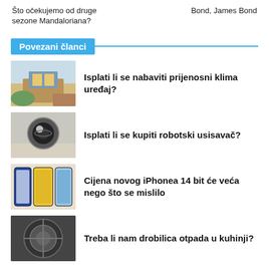Što očekujemo od druge sezone Mandaloriana?
Bond, James Bond
Povezani članci
[Figure (photo): Living room interior with fireplace and sofa]
Isplati li se nabaviti prijenosni klima uređaj?
[Figure (photo): Robotic vacuum cleaner on tiled floor]
Isplati li se kupiti robotski usisavač?
[Figure (photo): Three iPhone 14 models shown side by side]
Cijena novog iPhonea 14 bit će veća nego što se mislilo
[Figure (photo): Garbage disposal unit close-up]
Treba li nam drobilica otpada u kuhinji?